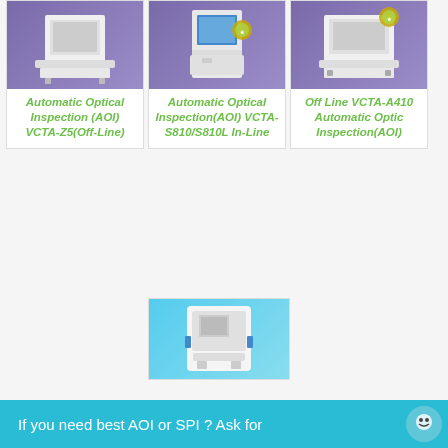[Figure (photo): Automatic Optical Inspection machine VCTA-Z5 (Off-Line) - white industrial machine on purple/blue background]
Automatic Optical Inspection (AOI) VCTA-Z5(Off-Line)
[Figure (photo): Automatic Optical Inspection (AOI) machine VCTA-S810/S810L In-Line with award badge on purple background]
Automatic Optical Inspection(AOI) VCTA-S810/S810L In-Line
[Figure (photo): Off Line VCTA-A410 Automatic Optic Inspection AOI machine on purple background with award badge]
Off Line VCTA-A410 Automatic Optic Inspection(AOI)
[Figure (photo): White enclosed SPI machine on light blue background]
If you need best AOI or SPI ? Ask for